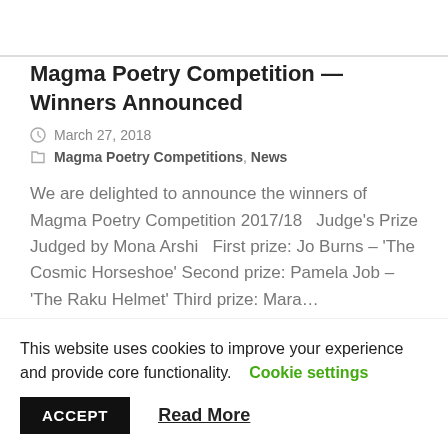Magma Poetry Competition — Winners Announced
March 27, 2018
Magma Poetry Competitions, News
We are delighted to announce the winners of Magma Poetry Competition 2017/18   Judge's Prize Judged by Mona Arshi   First prize: Jo Burns – 'The Cosmic Horseshoe' Second prize: Pamela Job – 'The Raku Helmet' Third prize: Mara...
This website uses cookies to improve your experience and provide core functionality.
Cookie settings
ACCEPT
Read More